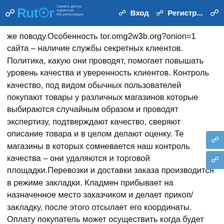Rutor | Вход | Регистр...
же поводу.Особенность tor.omg2w3b.org?onion=1 сайта – наличие службы секретных клиентов. Политика, какую они проводят, помогает повышать уровень качества и уверенность клиентов. Контроль качество, под видом обычных пользователей покупают товары у различных магазинов которые выбираются случайным образом и проводят экспертизу, подтверждают качество, сверяют описание товара и в целом делают оценку. Те магазины в которых сомневается наш контроль качества – они удаляются и торговой площадки.Перевозки и доставки заказа производится в режиме закладки. Кладмен прибывает на назначенное место заказчиком и делает прикоп/закладку, после этого отсылает его координаты. Оплату покупатель может осуществить когда будет взят товар, и конечно выполнив оценку его качества. При каких-либо недопониманий и несостыковок с описанием, покупатель имеет право начать спор при котором будет решаться вопрос, при этом если не получается прийти к какому-то одному выводу, то на диспут приглашается модератор сайта омг.Валюта рамяты Гидры – биткоин